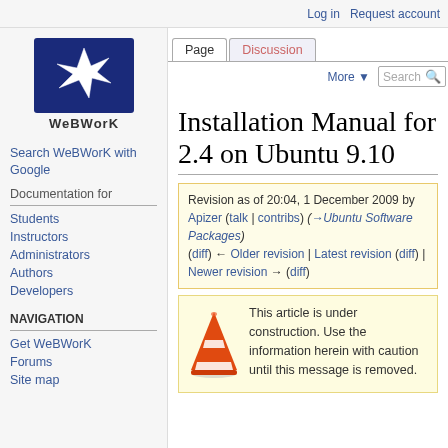Log in   Request account
[Figure (logo): WeBWorK logo — dark blue square with a white star-like geometric shape, text 'WeBWorK' below]
Search WeBWorK with Google
Documentation for
Students
Instructors
Administrators
Authors
Developers
NAVIGATION
Get WeBWorK
Forums
Site map
Installation Manual for 2.4 on Ubuntu 9.10
Revision as of 20:04, 1 December 2009 by Apizer (talk | contribs) (→Ubuntu Software Packages)
(diff) ← Older revision | Latest revision (diff) | Newer revision → (diff)
This article is under construction. Use the information herein with caution until this message is removed.